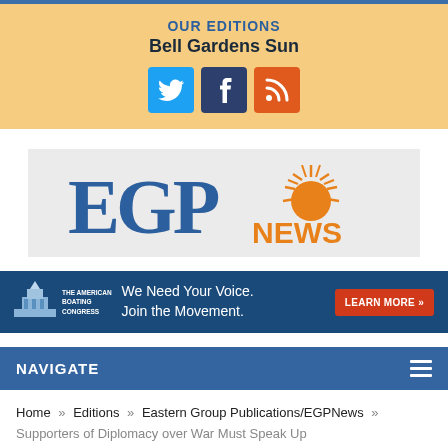OUR EDITIONS
Bell Gardens Sun
[Figure (logo): Social media icons: Twitter (blue), Facebook (dark blue), RSS (orange)]
[Figure (logo): EGP News logo with sun graphic on grey background]
[Figure (infographic): The American Boating Congress banner: We Need Your Voice. Join the Movement. LEARN MORE »]
NAVIGATE
Home » Editions » Eastern Group Publications/EGPNews » Supporters of Diplomacy over War Must Speak Up